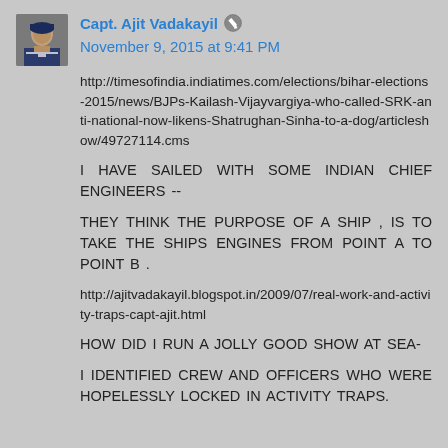Capt. Ajit Vadakayil ✏ November 9, 2015 at 9:41 PM
http://timesofindia.indiatimes.com/elections/bihar-elections-2015/news/BJPs-Kailash-Vijayvargiya-who-called-SRK-anti-national-now-likens-Shatrughan-Sinha-to-a-dog/articleshow/49727114.cms
I HAVE SAILED WITH SOME INDIAN CHIEF ENGINEERS --
THEY THINK THE PURPOSE OF A SHIP , IS TO TAKE THE SHIPS ENGINES FROM POINT A TO POINT B .
http://ajitvadakayil.blogspot.in/2009/07/real-work-and-activity-traps-capt-ajit.html
HOW DID I RUN A JOLLY GOOD SHOW AT SEA-
I IDENTIFIED CREW AND OFFICERS WHO WERE HOPELESSLY LOCKED IN ACTIVITY TRAPS.